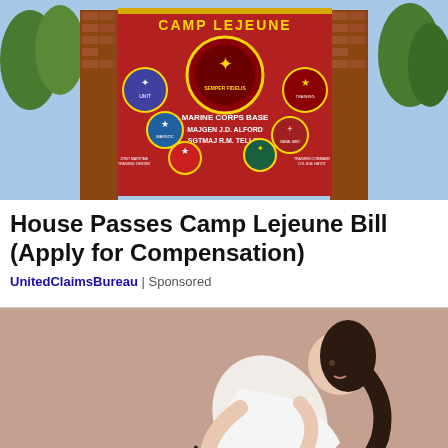[Figure (photo): Photo of Camp Lejeune Marine Corps Base entrance sign — a large red billboard with military unit seals and text reading 'CAMP LEJEUNE', 'MARINE CORPS BASE', 'MAJGEN J.D. ALFORD', 'SGTMAJ R.M. TELLEZ', flanked by brick columns with trees in the background.]
House Passes Camp Lejeune Bill (Apply for Compensation)
UnitedClaimsBureau | Sponsored
[Figure (illustration): Cartoon illustration of a woman bending forward holding her lower back in pain, with lightning bolt symbols indicating pain radiating from her lower back area. Background is a muted brownish-pink color.]